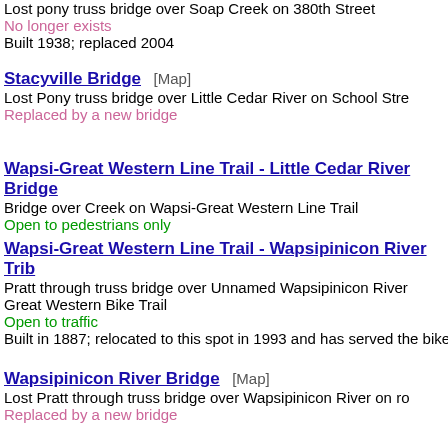Lost pony truss bridge over Soap Creek on 380th Street
No longer exists
Built 1938; replaced 2004
Stacyville Bridge [Map]
Lost Pony truss bridge over Little Cedar River on School Stre
Replaced by a new bridge
Wapsi-Great Western Line Trail - Little Cedar River Bridge
Bridge over Creek on Wapsi-Great Western Line Trail
Open to pedestrians only
Wapsi-Great Western Line Trail - Wapsipinicon River Trib
Pratt through truss bridge over Unnamed Wapsipinicon River Great Western Bike Trail
Open to traffic
Built in 1887; relocated to this spot in 1993 and has served the bike
Wapsipinicon River Bridge [Map]
Lost Pratt through truss bridge over Wapsipinicon River on ro
Replaced by a new bridge
Wapsipinicon River Bridge